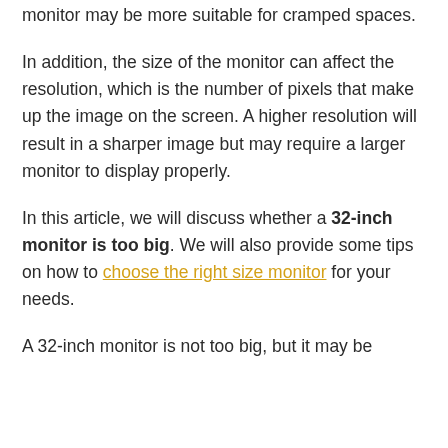monitor may be more suitable for cramped spaces.
In addition, the size of the monitor can affect the resolution, which is the number of pixels that make up the image on the screen. A higher resolution will result in a sharper image but may require a larger monitor to display properly.
In this article, we will discuss whether a 32-inch monitor is too big. We will also provide some tips on how to choose the right size monitor for your needs.
A 32-inch monitor is not too big, but it may be